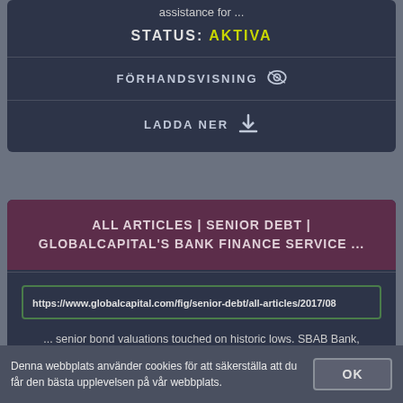assistance for ...
STATUS: AKTIVA
FÖRHANDSVISNING
LADDA NER
ALL ARTICLES | SENIOR DEBT | GLOBALCAPITAL'S BANK FINANCE SERVICE ...
https://www.globalcapital.com/fig/senior-debt/all-articles/2017/08
... senior bond valuations touched on historic lows. SBAB Bank, Länsförsäkringar Bank (LF Bank) and Svenska Handelsbanken were all looking at new deals.
STATUS: AKTIVA
Denna webbplats använder cookies för att säkerställa att du får den bästa upplevelsen på vår webbplats.